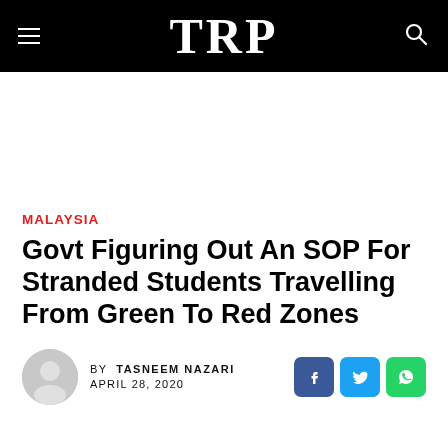TRP
[Figure (other): Advertisement/blank space]
MALAYSIA
Govt Figuring Out An SOP For Stranded Students Travelling From Green To Red Zones
BY TASNEEM NAZARI
APRIL 28, 2020